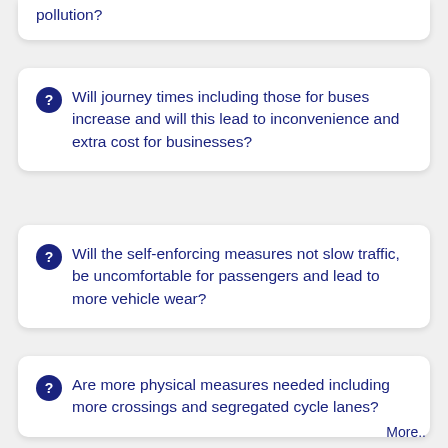pollution?
Will journey times including those for buses increase and will this lead to inconvenience and extra cost for businesses?
Will the self-enforcing measures not slow traffic, be uncomfortable for passengers and lead to more vehicle wear?
Are more physical measures needed including more crossings and segregated cycle lanes?
More..